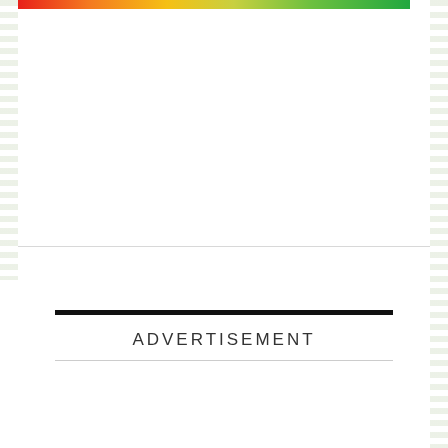[Figure (other): Rainbow gradient color bar spanning from red on left to green on right at top of page]
FILED UNDER: TECH NEWS
ADVERTISEMENT